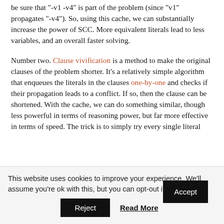be sure that "-v1 -v4" is part of the problem (since "v1" propagates "-v4"). So, using this cache, we can substantially increase the power of SCC. More equivalent literals lead to less variables, and an overall faster solving.
Number two. Clause vivification is a method to make the original clauses of the problem shorter. It's a relatively simple algorithm that enqueues the literals in the clauses one-by-one and checks if their propagation leads to a conflict. If so, then the clause can be shortened. With the cache, we can do something similar, though less powerful in terms of reasoning power, but far more effective in terms of speed. The trick is to simply try every single literal
This website uses cookies to improve your experience. We'll assume you're ok with this, but you can opt-out if you wish. Accept Reject Read More